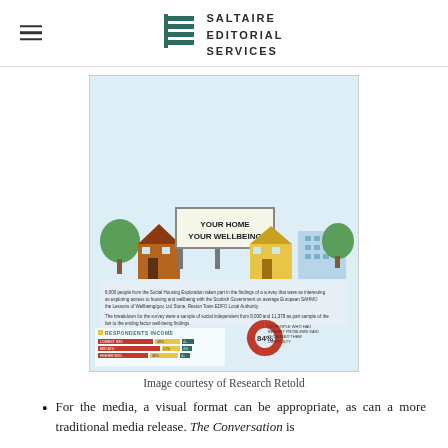SALTAIRE EDITORIAL SERVICES
[Figure (infographic): Infographic titled 'Your Home Your Wellbeing' showing housing and wellbeing survey data including respondents income breakdown, housing benefit reliance statistics (EDOC 61.1%, RENTER 48.8%, 36.6%), 84% of people who had benefit problems said it caused them difficulty, respondents struggling to make ends meet (46.7%, 19.4%, 41.1% for Register, Livewise, and another category), and information about respondents who have relied on housing benefit in the last 5 years.]
Image courtesy of Research Retold
For the media, a visual format can be appropriate, as can a more traditional media release. The Conversation is